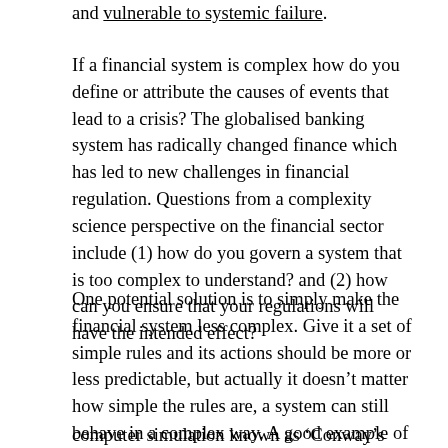and vulnerable to systemic failure.
If a financial system is complex how do you define or attribute the causes of events that lead to a crisis? The globalised banking system has radically changed finance which has led to new challenges in financial regulation. Questions from a complexity science perspective on the financial sector include (1) how do you govern a system that is too complex to understand? and (2) how can you ensure that your regulations will have the intended effect?
One potential solution is to simply make the financial system less complex. Give it a set of simple rules and its actions should be more or less predictable, but actually it doesn’t matter how simple the rules are, a system can still behave in a complex way. A good example of this comes from a
computer simulation known as ‘Conway’s game of